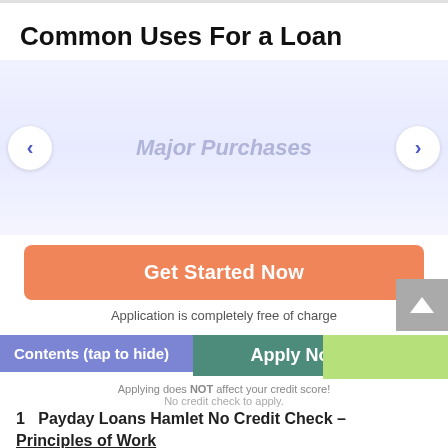Common Uses For a Loan
[Figure (screenshot): Carousel UI element with left and right navigation arrows and label 'Major Purchases']
[Figure (screenshot): Orange 'Get Started Now' button with 'Application is completely free of charge' text below]
[Figure (screenshot): Contents bar (tap to hide) with overlapping 'Apply Now' teal button and green box, plus scroll-up arrow button]
Applying does NOT affect your credit score!
No credit check to apply.
1  Payday Loans Hamlet No Credit Check – Principles of Work